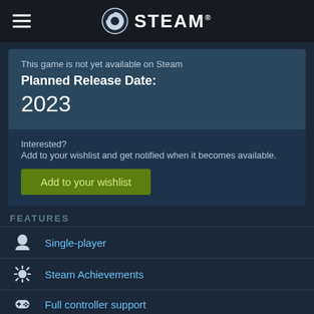STEAM®
This game is not yet available on Steam
Planned Release Date:
2023
Interested?
Add to your wishlist and get notified when it becomes available.
Add to your wishlist
FEATURES
Single-player
Steam Achievements
Full controller support
Steam Cloud